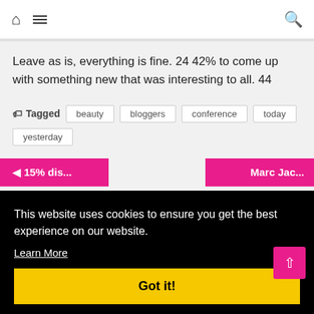Navigation bar with home icon, menu icon, and search icon
Leave as is, everything is fine. 24 42% to come up with something new that was interesting to all. 44
Tagged beauty bloggers conference today yesterday
◄ 15% dis...
Marc Jac...
This website uses cookies to ensure you get the best experience on our website.
Learn More
Got it!